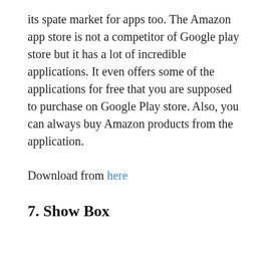its spate market for apps too. The Amazon app store is not a competitor of Google play store but it has a lot of incredible applications. It even offers some of the applications for free that you are supposed to purchase on Google Play store. Also, you can always buy Amazon products from the application.
Download from here
7. Show Box